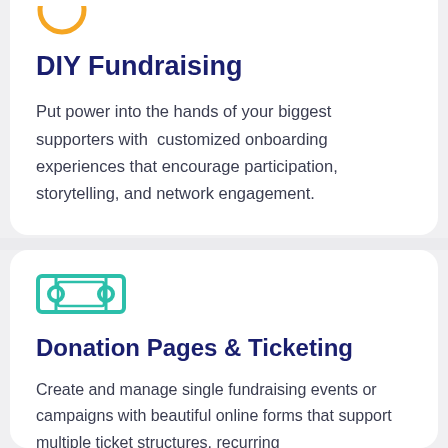[Figure (illustration): Orange circular icon, partially cropped at top]
DIY Fundraising
Put power into the hands of your biggest supporters with  customized onboarding experiences that encourage participation, storytelling, and network engagement.
[Figure (illustration): Teal/green ticket icon]
Donation Pages & Ticketing
Create and manage single fundraising events or campaigns with beautiful online forms that support multiple ticket structures, recurring